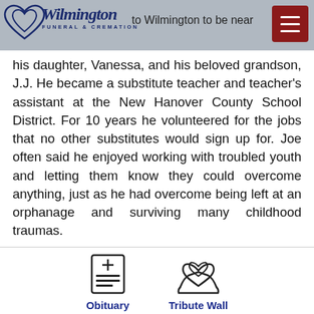Wilmington Funeral & Cremation — to Wilmington to be near
his daughter, Vanessa, and his beloved grandson, J.J. He became a substitute teacher and teacher's assistant at the New Hanover County School District. For 10 years he volunteered for the jobs that no other substitutes would sign up for. Joe often said he enjoyed working with troubled youth and letting them know they could overcome anything, just as he had overcome being left at an orphanage and surviving many childhood traumas.
[Figure (illustration): Obituary document icon]
Obituary
[Figure (illustration): Tribute Wall hearts icon]
Tribute Wall